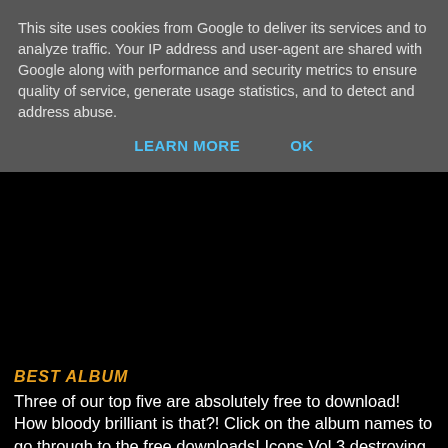This site uses cookies from Google to deliver its services and to analyze traffic. Your IP address and user-agent are shared with Google along with performance and security metrics to ensure quality of service, generate usage statistics, and to detect and address abuse.
LEARN MORE   OK
BEST ALBUM
Three of our top five are absolutely free to download! How bloody brilliant is that?! Click on the album names to go through to the free downloads! Icons Vol 3 destroying it this year!
Breakz R Boss Family: Part II - FREE ALBUM DOWNLOAD!
Colombo - Abandoned Factory
Elite Force - RVMPD2 - FREE ALBUM DOWNLOAD!
Featurecast - Run For Cover
*Ghetto Funk Presents Icons Vol 3 - FREE ALBUM DOWNLOAD!
[Figure (other): Embedded playlist widget showing 'Oops, we couldn't find that playlist.']